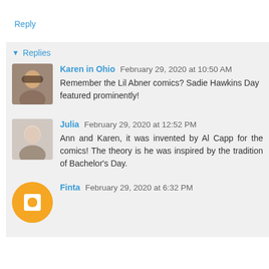Reply
Replies
Karen in Ohio February 29, 2020 at 10:50 AM
Remember the Lil Abner comics? Sadie Hawkins Day featured prominently!
Julia February 29, 2020 at 12:52 PM
Ann and Karen, it was invented by Al Capp for the comics! The theory is he was inspired by the tradition of Bachelor's Day.
Finta February 29, 2020 at 6:32 PM